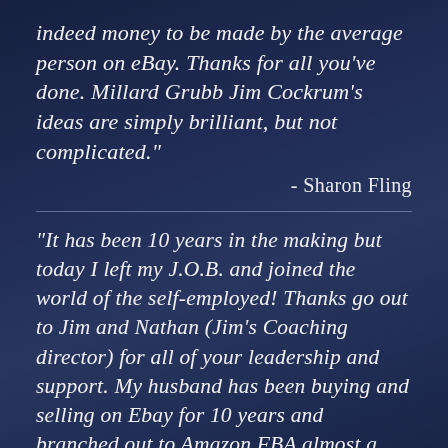indeed money to be made by the average person on eBay. Thanks for all you've done. Millard Grubb Jim Cockrum's ideas are simply brilliant, but not complicated."
- Sharon Fling
"It has been 10 years in the making but today I left my J.O.B. and joined the world of the self-employed! Thanks go out to Jim and Nathan (Jim's Coaching director) for all of your leadership and support. My husband has been buying and selling on Ebay for 10 years and branched out to Amazon FBA almost a year a go. He signed up for coaching with Jim and Nathan and learned a lot in